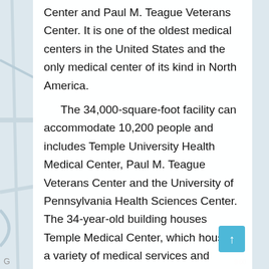Center and Paul M. Teague Veterans Center. It is one of the oldest medical centers in the United States and the only medical center of its kind in North America.
The 34,000-square-foot facility can accommodate 10,200 people and includes Temple University Health Medical Center, Paul M. Teague Veterans Center and the University of Pennsylvania Health Sciences Center. The 34-year-old building houses Temple Medical Center, which houses a variety of medical services and equipment.